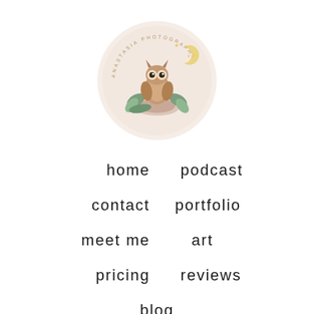[Figure (logo): Circular logo with beige/cream background featuring an illustrated owl perched on a rock with botanical elements and text around the border reading 'Anastasia Photography']
home
podcast
contact
portfolio
meet me
art
pricing
reviews
blog